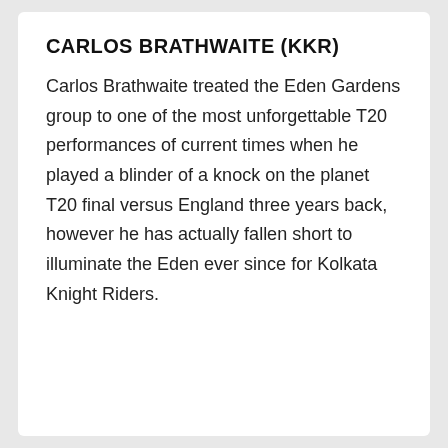CARLOS BRATHWAITE (KKR)
Carlos Brathwaite treated the Eden Gardens group to one of the most unforgettable T20 performances of current times when he played a blinder of a knock on the planet T20 final versus England three years back, however he has actually fallen short to illuminate the Eden ever since for Kolkata Knight Riders.